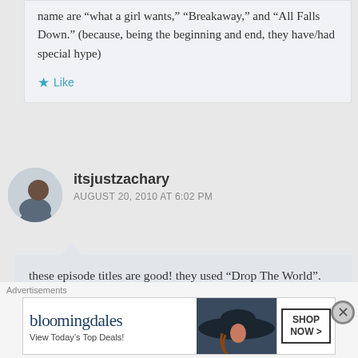name are “what a girl wants,” “Breakaway,” and “All Falls Down.” (because, being the beginning and end, they have/had special hype)
Like
itsjustzachary
AUGUST 20, 2010 AT 6:02 PM
these episode titles are good! they used “Drop The World”. That’s my favorite. (just random moment btw)
[Figure (other): Bloomingdale's advertisement banner: logo text 'bloomingdales', subtext 'View Today’s Top Deals!', image of woman in wide-brim hat, 'SHOP NOW >' button]